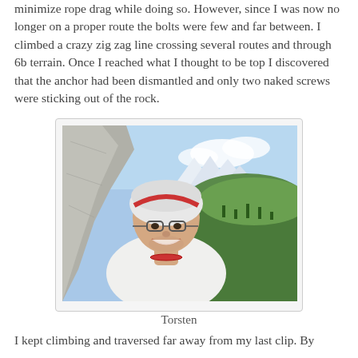minimize rope drag while doing so. However, since I was now no longer on a proper route the bolts were few and far between. I climbed a crazy zig zag line crossing several routes and through 6b terrain. Once I reached what I thought to be top I discovered that the anchor had been dismantled and only two naked screws were sticking out of the rock.
[Figure (photo): A man wearing a white helmet and glasses smiling at the camera (selfie) while rock climbing on a limestone face. Mountain valley with snow-capped peaks and green hills visible in the background.]
Torsten
I kept climbing and traversed far away from my last clip. By